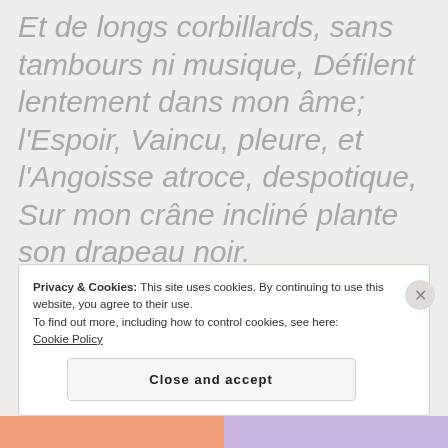Et de longs corbillards, sans tambours ni musique, Défilent lentement dans mon âme; l'Espoir, Vaincu, pleure, et l'Angoisse atroce, despotique, Sur mon crâne incliné plante son drapeau noir.
Privacy & Cookies: This site uses cookies. By continuing to use this website, you agree to their use.
To find out more, including how to control cookies, see here: Cookie Policy

Close and accept